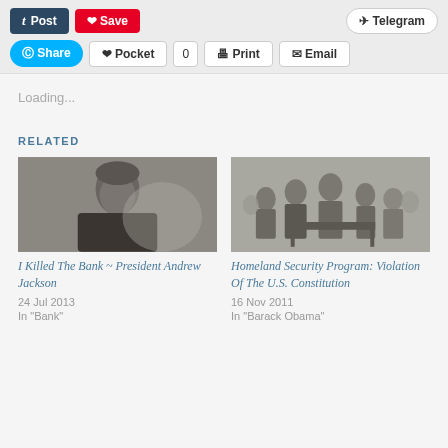[Figure (screenshot): Social sharing buttons row 1: Post (Tumblr), Save (Pinterest), Telegram]
[Figure (screenshot): Social sharing buttons row 2: Share (Skype), Pocket with count 0, Print, Email]
Loading...
RELATED
[Figure (photo): Black and white portrait of President Andrew Jackson]
I Killed The Bank ~ President Andrew Jackson
24 Jul 2013
In "Bank"
[Figure (illustration): Historical illustration of a group scene with figures in formal attire]
Homeland Security Program: Violation Of The U.S. Constitution
16 Nov 2011
In "Barack Obama"